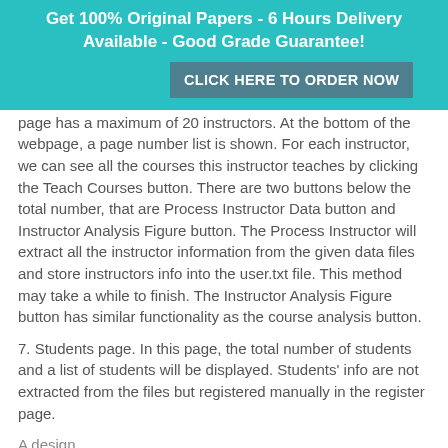Get 100% Original Papers - 6 Hours Delivery Available - Good Grade Guarantee! CLICK HERE TO ORDER NOW
page has a maximum of 20 instructors. At the bottom of the webpage, a page number list is shown. For each instructor, we can see all the courses this instructor teaches by clicking the Teach Courses button. There are two buttons below the total number, that are Process Instructor Data button and Instructor Analysis Figure button. The Process Instructor will extract all the instructor information from the given data files and store instructors info into the user.txt file. This method may take a while to finish. The Instructor Analysis Figure button has similar functionality as the course analysis button.
7. Students page. In this page, the total number of students and a list of students will be displayed. Students' info are not extracted from the files but registered manually in the register page.
A design…